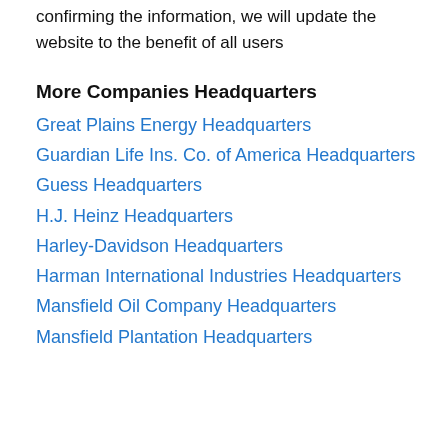confirming the information, we will update the website to the benefit of all users
More Companies Headquarters
Great Plains Energy Headquarters
Guardian Life Ins. Co. of America Headquarters
Guess Headquarters
H.J. Heinz Headquarters
Harley-Davidson Headquarters
Harman International Industries Headquarters
Mansfield Oil Company Headquarters
Mansfield Plantation Headquarters